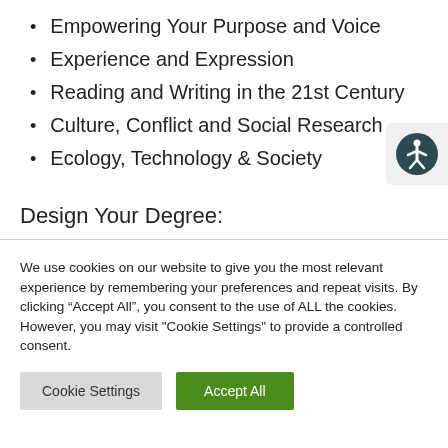Empowering Your Purpose and Voice
Experience and Expression
Reading and Writing in the 21st Century
Culture, Conflict and Social Research
Ecology, Technology & Society
Design Your Degree:
We use cookies on our website to give you the most relevant experience by remembering your preferences and repeat visits. By clicking “Accept All”, you consent to the use of ALL the cookies. However, you may visit "Cookie Settings" to provide a controlled consent.